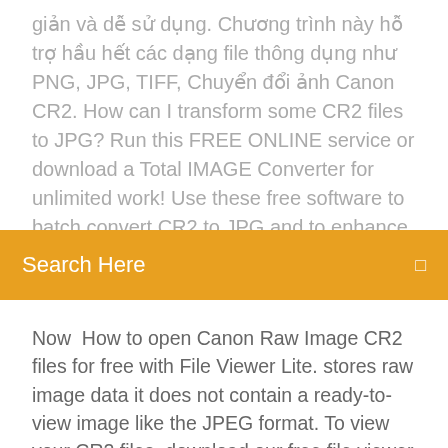giản và dễ sử dụng. Chương trình này hỗ trợ hầu hết các dạng file thông dụng như PNG, JPG, TIFF, Chuyển đổi ảnh Canon CR2. How can I transform some CR2 files to JPG? Run this FREE ONLINE service or download a Total IMAGE Converter for unlimited work! Use these free software to batch convert CR2 to JPG and to enhance and edit images using CR2 or Canon…
[Figure (screenshot): Orange search bar with 'Search Here' placeholder text and a search icon on the right]
Now  How to open Canon Raw Image CR2 files for free with File Viewer Lite. stores raw image data it does not contain a ready-to-view image like the JPEG format. To view your CR2 files, download our free file viewer and drag and drop the .
CR2 to JPG – Top 10 Canon CR2 Converters for You. CR2 is Photoshop to convert CR2 file to JPG in high quality, then you can free download it to have a try.
CR2 Converter is a free CR2 image converter, it can convert a cr2 image file to the normal image files, such as JPG/JPEG…